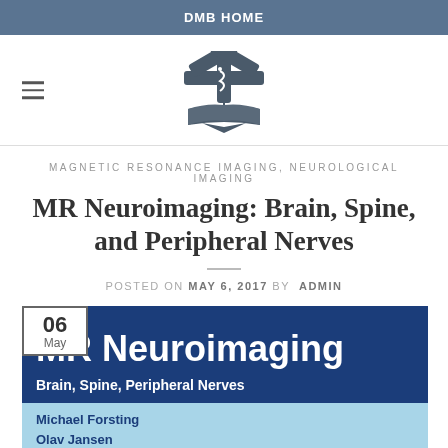DMB HOME
[Figure (logo): Medical/emergency services logo with star of life and open book, dark grey]
MAGNETIC RESONANCE IMAGING, NEUROLOGICAL IMAGING
MR Neuroimaging: Brain, Spine, and Peripheral Nerves
POSTED ON MAY 6, 2017 BY ADMIN
[Figure (photo): Book cover for MR Neuroimaging showing title 'MR Neuroimaging' in large white text on dark blue background, subtitle 'Brain, Spine, Peripheral Nerves', authors Michael Forsting and Olav Jansen listed on light blue lower section. Date badge '06 May' overlaid top-left.]